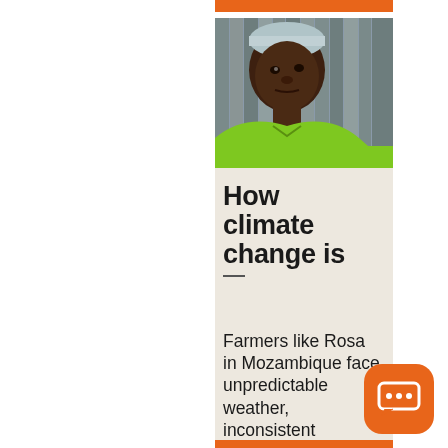[Figure (photo): An elderly African woman wearing a light blue head covering and bright green shirt, looking upward, standing in front of wooden planks. This is Rosa, a farmer from Mozambique.]
How climate change is
Farmers like Rosa in Mozambique face unpredictable weather, inconsistent harvests, intense heat.